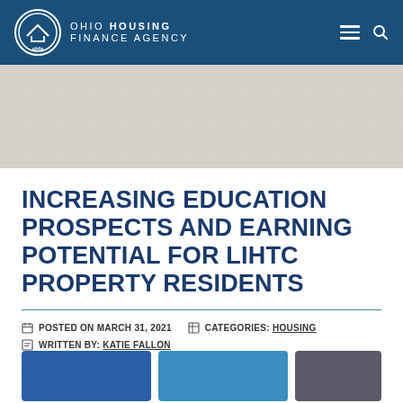OHIO HOUSING FINANCE AGENCY
[Figure (illustration): Hero banner with textured gray background pattern]
INCREASING EDUCATION PROSPECTS AND EARNING POTENTIAL FOR LIHTC PROPERTY RESIDENTS
POSTED ON MARCH 31, 2021   CATEGORIES: HOUSING
WRITTEN BY: KATIE FALLON